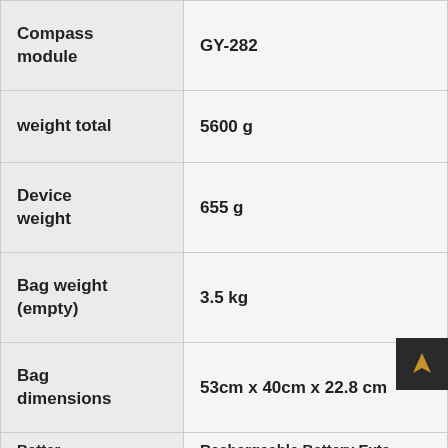| Property | Value |
| --- | --- |
| Compass module | GY-282 |
| weight total | 5600 g |
| Device weight | 655 g |
| Bag weight (empty) | 3.5 kg |
| Bag dimensions | 53cm x 40cm x 22.8 cm |
| Battery Type... | Rechargeable Battery External... |